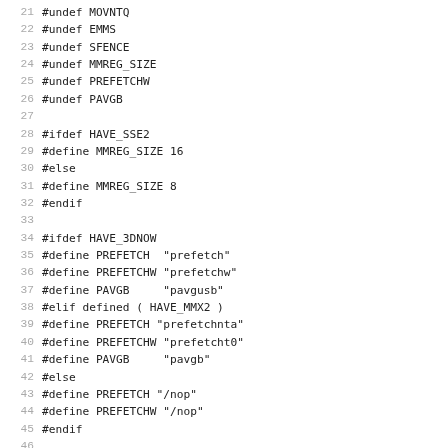Source code listing lines 21-52 showing C preprocessor directives for MOVNTQ, EMMS, SFENCE, MMREG_SIZE, PREFETCHW, PAVGB, HAVE_SSE2, HAVE_3DNOW, HAVE_MMX2 conditional definitions